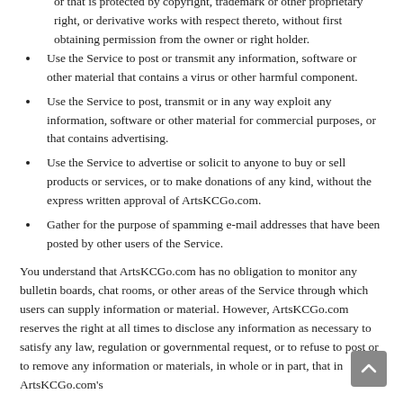or that is protected by copyright, trademark or other proprietary right, or derivative works with respect thereto, without first obtaining permission from the owner or right holder.
Use the Service to post or transmit any information, software or other material that contains a virus or other harmful component.
Use the Service to post, transmit or in any way exploit any information, software or other material for commercial purposes, or that contains advertising.
Use the Service to advertise or solicit to anyone to buy or sell products or services, or to make donations of any kind, without the express written approval of ArtsKCGo.com.
Gather for the purpose of spamming e-mail addresses that have been posted by other users of the Service.
You understand that ArtsKCGo.com has no obligation to monitor any bulletin boards, chat rooms, or other areas of the Service through which users can supply information or material. However, ArtsKCGo.com reserves the right at all times to disclose any information as necessary to satisfy any law, regulation or governmental request, or to refuse to post or to remove any information or materials, in whole or in part, that in ArtsKCGo.com's